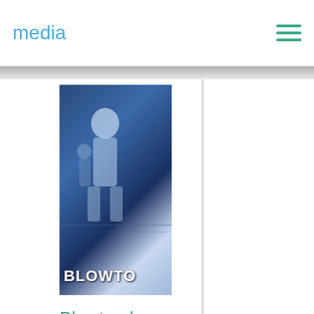media
[Figure (photo): Movie poster for Blowtorch showing a man in a blue-toned scene with the title BLOWTORCH at the bottom]
Blowtorch
In Action Movies, English Movies, Movies November 17, 2016 Blowtorch is the Brooklyn